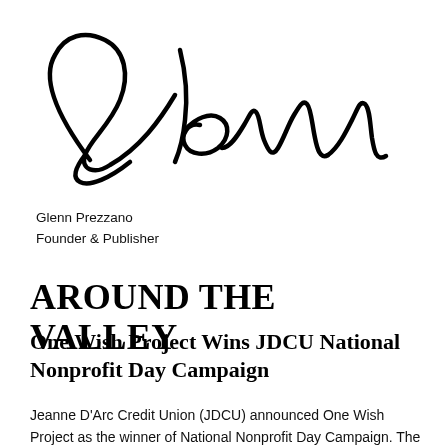[Figure (illustration): Handwritten cursive signature reading 'Glenn']
Glenn Prezzano
Founder & Publisher
AROUND THE VALLEY
One Wish Project Wins JDCU National Nonprofit Day Campaign
Jeanne D'Arc Credit Union (JDCU) announced One Wish Project as the winner of National Nonprofit Day Campaign. The organization received a $2,021 donation as the winning